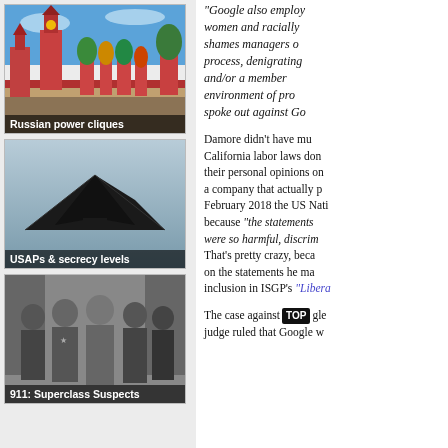[Figure (photo): Photo of Moscow Kremlin and St. Basil's Cathedral with caption 'Russian power cliques']
[Figure (photo): Photo of a stealth aircraft (F-117 style) in flight with caption 'USAPs & secrecy levels']
[Figure (photo): Black and white photo of men in suits with caption '911: Superclass Suspects']
"Google also employ women and racially shames managers o process, denigrating and/or a member environment of pro spoke out against Go
Damore didn't have mu California labor laws don their personal opinions on a company that actually p February 2018 the US Nati because "the statements were so harmful, discrim That's pretty crazy, beca on the statements he ma inclusion in ISGP's "Liber
The case against [TOP] gle judge ruled that Google w